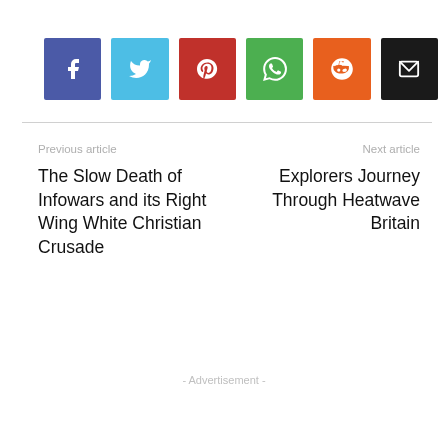[Figure (infographic): Row of 6 social sharing buttons: Facebook (blue-purple), Twitter (light blue), Pinterest (red), WhatsApp (green), Reddit (orange), Email (black), each with white icon on colored square background]
Previous article
Next article
The Slow Death of Infowars and its Right Wing White Christian Crusade
Explorers Journey Through Heatwave Britain
- Advertisement -